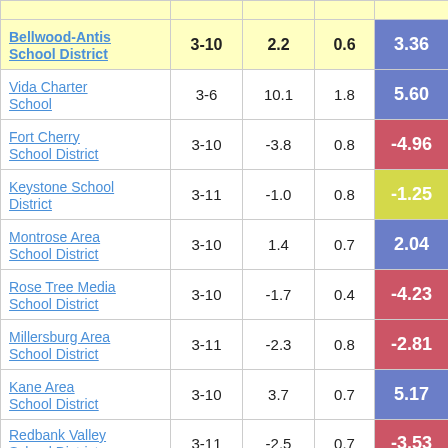|  |  |  |  |  |
| --- | --- | --- | --- | --- |
| Bellwood-Antis School District | 3-10 | 2.2 | 0.6 | 3.36 |
| Vida Charter School | 3-6 | 10.1 | 1.8 | 5.60 |
| Fort Cherry School District | 3-10 | -3.8 | 0.8 | -4.96 |
| Keystone School District | 3-11 | -1.0 | 0.8 | -1.25 |
| Montrose Area School District | 3-10 | 1.4 | 0.7 | 2.04 |
| Rose Tree Media School District | 3-10 | -1.7 | 0.4 | -4.23 |
| Millersburg Area School District | 3-11 | -2.3 | 0.8 | -2.81 |
| Kane Area School District | 3-10 | 3.7 | 0.7 | 5.17 |
| Redbank Valley School District | 3-11 | -2.5 | 0.7 | -3.53 |